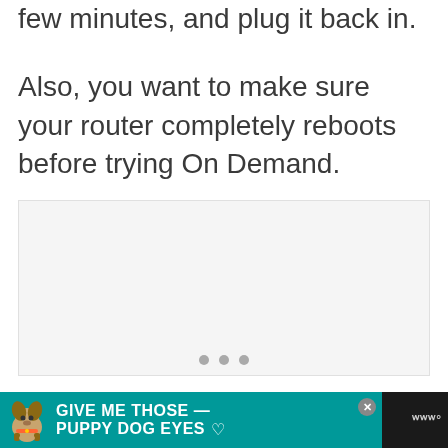few minutes, and plug it back in.
Also, you want to make sure your router completely reboots before trying On Demand.
[Figure (other): Advertisement banner area with dots navigation indicator at bottom. Below is an ad for 'GIVE ME THOSE PUPPY DOG EYES' on a teal/dark background with a dog image, close button, and brand logo.]